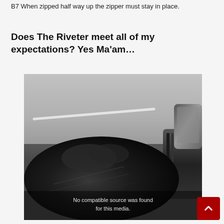B7 When zipped half way up the zipper must stay in place.
Does The Riveter meet all of my expectations? Yes Ma'am…
[Figure (photo): A gloved hand gripping a motorcycle handlebar with a side mirror visible, road in the background. A video overlay reads 'No compatible source was found for this media.']